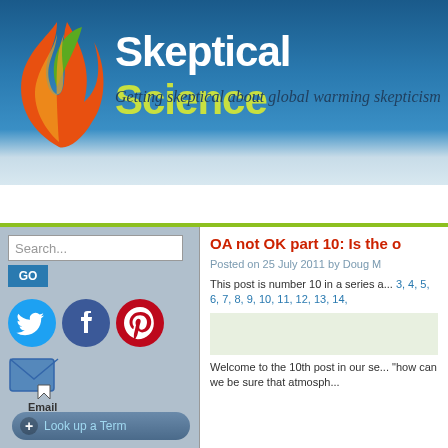[Figure (logo): Skeptical Science website header with flame/leaf logo, title 'Skeptical Science' and subtitle 'Getting skeptical about global warming skepticism']
Skeptical Science — Getting skeptical about global warming skepticism
Home | Arguments | Software | Resources | Comments
Search...
OA not OK part 10: Is the o...
Posted on 25 July 2011 by Doug M...
This post is number 10 in a series a... 3, 4, 5, 6, 7, 8, 9, 10, 11, 12, 13, 14,...
Welcome to the 10th post in our se... "how can we be sure that atmosph...